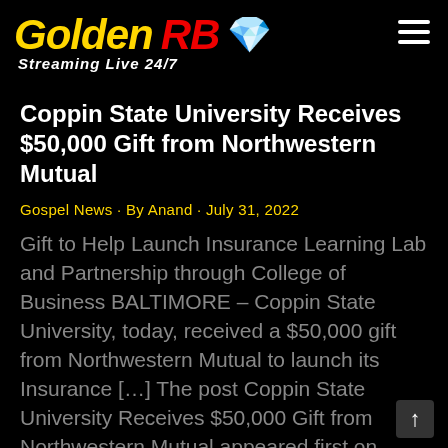GoldenRB Streaming Live 24/7
Coppin State University Receives $50,000 Gift from Northwestern Mutual
Gospel News · By Anand · July 31, 2022
Gift to Help Launch Insurance Learning Lab and Partnership through College of Business BALTIMORE – Coppin State University, today, received a $50,000 gift from Northwestern Mutual to launch its Insurance […] The post Coppin State University Receives $50,000 Gift from Northwestern Mutual appeared first on AFRO.